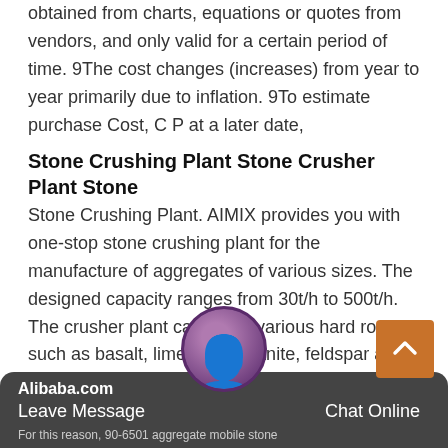obtained from charts, equations or quotes from vendors, and only valid for a certain period of time. 9The cost changes (increases) from year to year primarily due to inflation. 9To estimate purchase Cost, C P at a later date,
Stone Crushing Plant Stone Crusher Plant Stone
Stone Crushing Plant. AIMIX provides you with one-stop stone crushing plant for the manufacture of aggregates of various sizes. The designed capacity ranges from 30t/h to 500t/h. The crusher plant can crush various hard rocks such as basalt, limestone, granite, feldspar and quartz. You can choose stationary or mobile type to your specific needs.
Best Quality stone crushing plant prices
Alibaba.com
Leave Message
Chat Online
For this reason, 90-6501 aggregate mobile stone